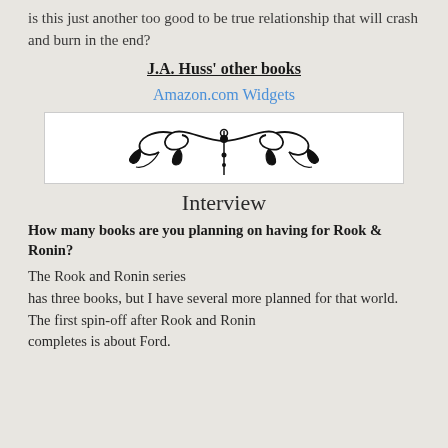is this just another too good to be true relationship that will crash and burn in the end?
J.A. Huss' other books
Amazon.com Widgets
[Figure (illustration): Decorative ornamental divider with scrollwork and floral motifs on white background]
Interview
How many books are you planning on having for Rook & Ronin?
The Rook and Ronin series has three books, but I have several more planned for that world.  The first spin-off after Rook and Ronin completes is about Ford.